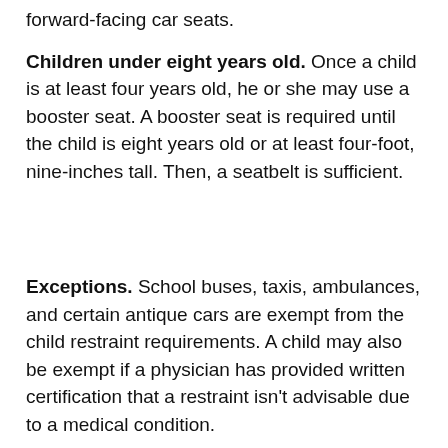forward-facing car seats.
Children under eight years old. Once a child is at least four years old, he or she may use a booster seat. A booster seat is required until the child is eight years old or at least four-foot, nine-inches tall. Then, a seatbelt is sufficient.
Exceptions. School buses, taxis, ambulances, and certain antique cars are exempt from the child restraint requirements. A child may also be exempt if a physician has provided written certification that a restraint isn't advisable due to a medical condition.
Violation. A child seat violation will result in a $50 fine plus